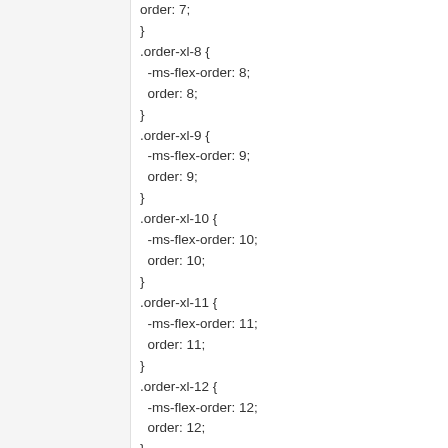order: 7;
}
.order-xl-8 {
  -ms-flex-order: 8;
  order: 8;
}
.order-xl-9 {
  -ms-flex-order: 9;
  order: 9;
}
.order-xl-10 {
  -ms-flex-order: 10;
  order: 10;
}
.order-xl-11 {
  -ms-flex-order: 11;
  order: 11;
}
.order-xl-12 {
  -ms-flex-order: 12;
  order: 12;
}
.offset-xl-0 {